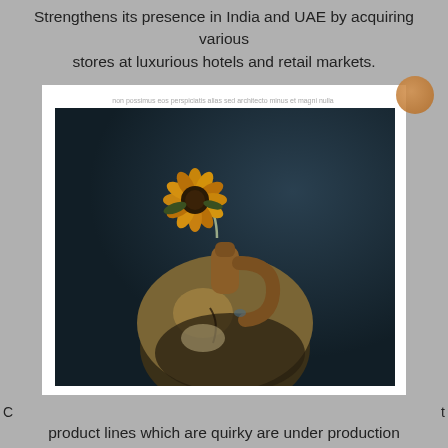Strengthens its presence in India and UAE by acquiring various stores at luxurious hotels and retail markets.
[Figure (photo): A ceramic/earthenware jug with a handle, dark glaze on lower portion and tan/beige on upper, with a dried sunflower or similar dried flower inserted through the handle opening, photographed against a dark teal background.]
product lines which are quirky are under production